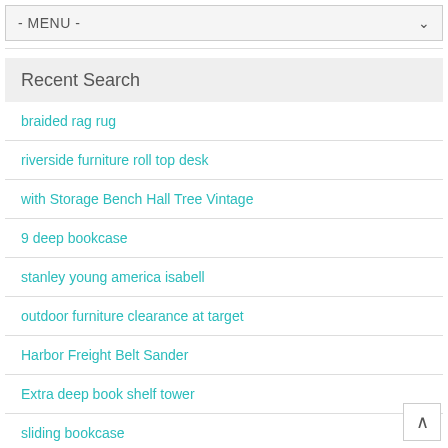- MENU -
Recent Search
braided rag rug
riverside furniture roll top desk
with Storage Bench Hall Tree Vintage
9 deep bookcase
stanley young america isabell
outdoor furniture clearance at target
Harbor Freight Belt Sander
Extra deep book shelf tower
sliding bookcase
wood bookcase sliding doors
twin murphy desk bed